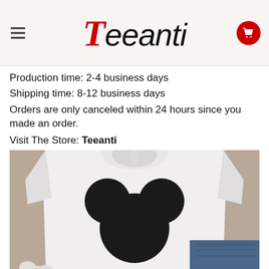Teeanti
Production time: 2-4 business days
Shipping time: 8-12 business days
Orders are only canceled within 24 hours since you made an order.
Visit The Store: Teeanti
[Figure (photo): White t-shirt with black Mickey Mouse silhouette graphic printed on front, folded jeans visible in background, cotton flowers in foreground]